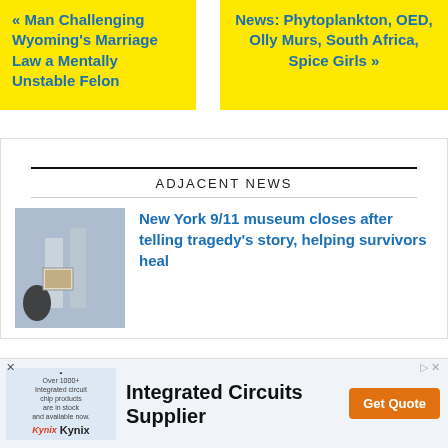« Man Challenging Wyoming's Marriage Law a Mentally Unstable Felon
News: Phytoplankton, OED, Olly Murs, South Africa, Spice Girls »
ADJACENT NEWS
New York 9/11 museum closes after telling tragedy's story, helping survivors heal
[Figure (photo): Thumbnail photo related to 9/11 museum article showing Twin Towers]
[Figure (infographic): Advertisement for Integrated Circuits Supplier by Kynix with chip image and Get Quote button]